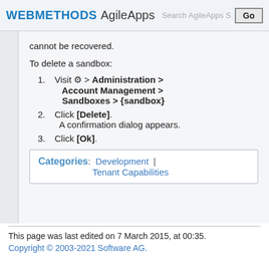WEBMETHODS AgileApps  Search AgileApps S  Go
cannot be recovered.
To delete a sandbox:
1. Visit ⚙ > Administration > Account Management > Sandboxes > {sandbox}
2. Click [Delete]. A confirmation dialog appears.
3. Click [Ok].
| Categories: |
| --- |
| Development | Tenant Capabilities |
This page was last edited on 7 March 2015, at 00:35.
Copyright © 2003-2021 Software AG.